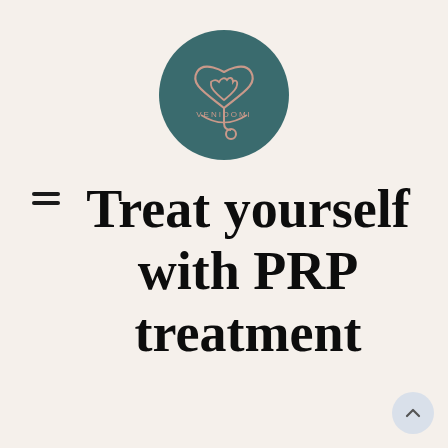[Figure (logo): Venidomi circular logo with teal/dark green background featuring a hand holding a heart shape and a stethoscope, with the text VENIDOMI in pink/rose lettering]
Treat yourself with PRP treatment